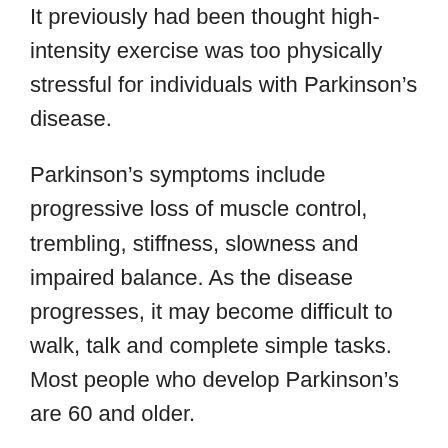It previously had been thought high-intensity exercise was too physically stressful for individuals with Parkinson’s disease.
Parkinson’s symptoms include progressive loss of muscle control, trembling, stiffness, slowness and impaired balance. As the disease progresses, it may become difficult to walk, talk and complete simple tasks. Most people who develop Parkinson’s are 60 and older.
“If you have Parkinson’s disease and you want to delay the progression of your symptoms, you should exercise three times a week with your heart rate between 80 to 85 percent maximum. It is that simple,”